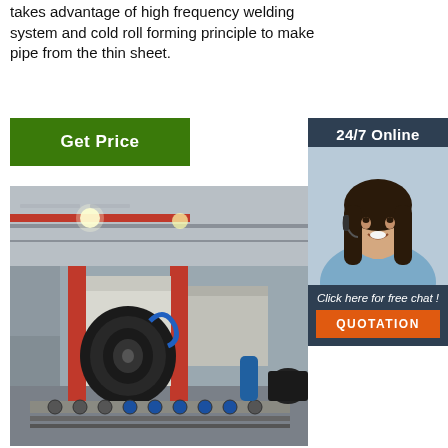takes advantage of high frequency welding system and cold roll forming principle to make pipe from the thin sheet.
Get Price
24/7 Online
[Figure (photo): Woman with headset smiling, customer support representative]
Click here for free chat !
QUOTATION
[Figure (photo): Industrial factory interior showing a pipe forming/welding machine with red vertical frames, conveyor rollers, a large metal coil, and industrial lighting in the ceiling]